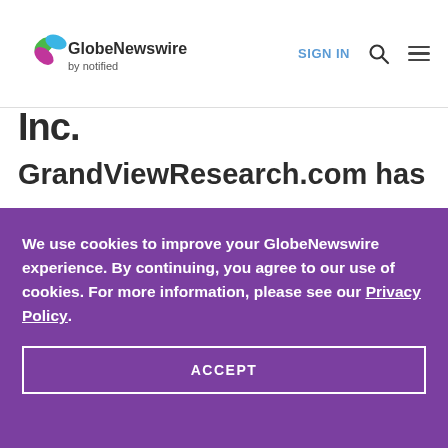GlobeNewswire by notified — SIGN IN
Inc.
GrandViewResearch.com has
We use cookies to improve your GlobeNewswire experience. By continuing, you agree to our use of cookies. For more information, please see our Privacy Policy.
ACCEPT